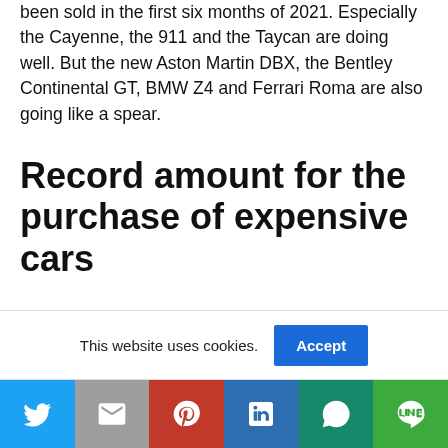been sold in the first six months of 2021. Especially the Cayenne, the 911 and the Taycan are doing well. But the new Aston Martin DBX, the Bentley Continental GT, BMW Z4 and Ferrari Roma are also going like a spear.
Record amount for the purchase of expensive cars
The British have traditionally been bigger car enthusiasts than the Dutch and Belgians. Corona and Brexit can also affect the British car freaks.
This website uses cookies.
[Figure (infographic): Social sharing bar with Twitter, Email, Pinterest, LinkedIn, WhatsApp, and LINE buttons]